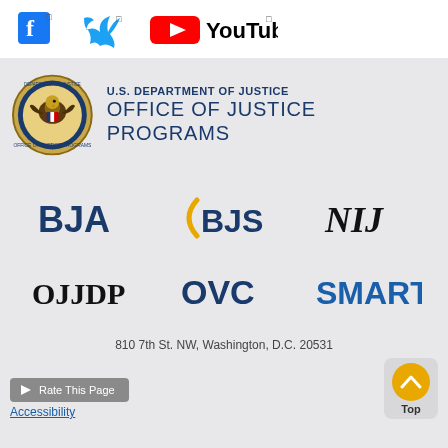[Figure (logo): Facebook, Twitter, and YouTube social media icons/logos in a white top bar]
[Figure (logo): U.S. Department of Justice Office of Justice Programs seal and text logo on gray background]
[Figure (logo): BJA logo - bold dark blue text]
[Figure (logo): BJS logo - blue text with orange circular arc]
[Figure (logo): NIJ logo - black italic text]
[Figure (logo): OJJDP logo - dark text]
[Figure (logo): OVC logo - bold dark blue text]
[Figure (logo): SMART logo - bold blue text]
810 7th St. NW, Washington, D.C. 20531
Rate This Page
Accessibility